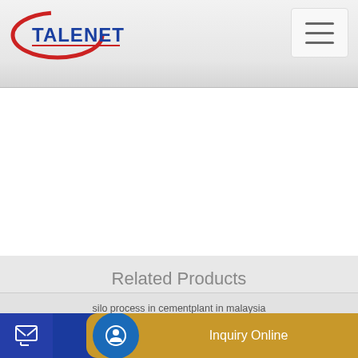TALENET
[Figure (screenshot): White content area below header, placeholder for main page content]
Related Products
silo process in cementplant in malaysia
Mobile asphalt mixing plant installed in Oman Photo Gallery
Send Message
Inquiry Online